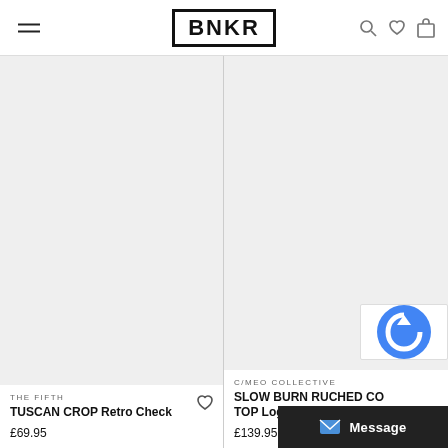[Figure (logo): BNKR logo in bold black text inside a black rectangle border, centered in the header navigation bar]
[Figure (photo): Product image area (light gray placeholder) for THE FIFTH TUSCAN CROP Retro Check item]
THE FIFTH
TUSCAN CROP Retro Check
£69.95
[Figure (photo): Product image area (light gray placeholder) for C/MEO COLLECTIVE SLOW BURN RUCHED CO... TOP Logo Print item]
C/MEO COLLECTIVE
SLOW BURN RUCHED CO... TOP Logo Print
£139.95